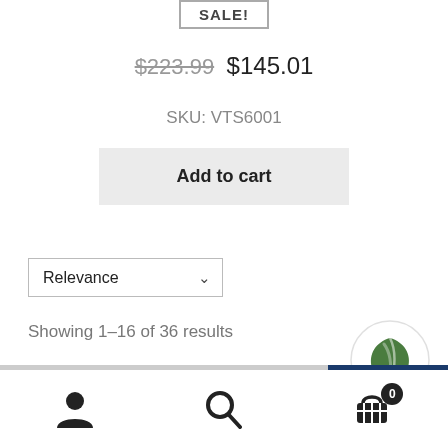SALE!
$223.99  $145.01
SKU: VTS6001
Add to cart
Relevance
Showing 1–16 of 36 results
1  2  3  ▶
[Figure (logo): Circular leaf/plant logo icon with green leaf on white background]
[Figure (infographic): Bottom navigation bar with user/account icon, search icon, and shopping cart icon with badge showing 0]